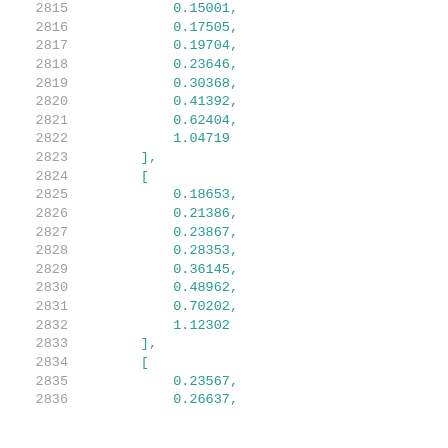2815    0.15001,
2816    0.17505,
2817    0.19704,
2818    0.23646,
2819    0.30368,
2820    0.41392,
2821    0.62404,
2822    1.04719
2823    ],
2824    [
2825    0.18653,
2826    0.21386,
2827    0.23867,
2828    0.28353,
2829    0.36145,
2830    0.48962,
2831    0.70202,
2832    1.12302
2833    ],
2834    [
2835    0.23567,
2836    0.26637,